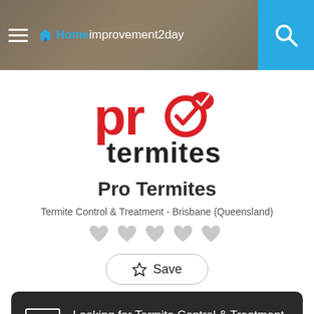[Figure (screenshot): Homeimprovement2day website header with hamburger menu, logo, and search icon on blue background]
[Figure (logo): Pro Termites logo with red 'pro' text featuring a checkmark in the 'o' and black 'termites' text]
Pro Termites
Termite Control & Treatment - Brisbane (Queensland)
[Figure (other): Five grey heart/rating icons]
☆ Save
Looking for Termite Control & Treatment Services in Brisbane